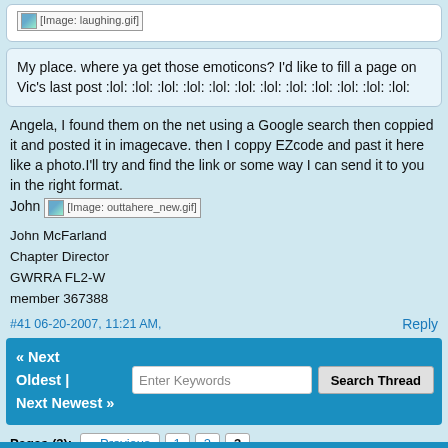[Figure (other): [Image: laughing.gif] emoticon image placeholder]
My place. where ya get those emoticons? I'd like to fill a page on Vic's last post :lol: :lol: :lol: :lol: :lol: :lol: :lol: :lol: :lol: :lol: :lol: :lol:
Angela, I found them on the net using a Google search then coppied it and posted it in imagecave. then I coppy EZcode and past it here like a photo.I'll try and find the link or some way I can send it to you in the right format.
John [Image: outtahere_new.gif]
John McFarland
Chapter Director
GWRRA FL2-W
member 367388
#41 06-20-2007, 11:21 AM,
Reply
« Next   Enter Keywords   Search Thread
Oldest |
Next Newest »
Pages (3):  « Previous  1  2  3